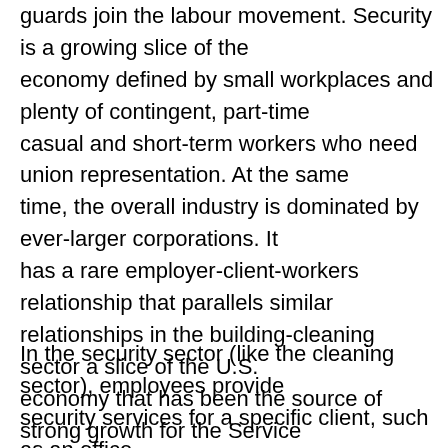guards join the labour movement. Security is a growing slice of the economy defined by small workplaces and plenty of contingent, part-time casual and short-term workers who need union representation. At the same time, the overall industry is dominated by ever-larger corporations. It has a rare employer-client-workers relationship that parallels similar relationships in the building-cleaning sector a slice of the U.S. economy that has been the source of strong growth for the Service Employees International Union.
In the security sector (like the cleaning sector), employees provide security services for a specific client, such as an office